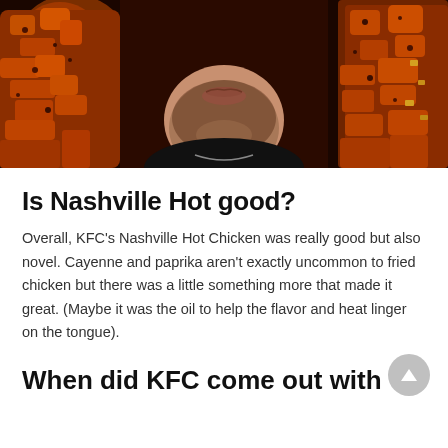[Figure (photo): Close-up photo of a man's lower face with a beard, holding pieces of KFC Nashville Hot Chicken on both sides — the chicken is heavily coated in dark reddish-orange spicy breading. Background is dark red.]
Is Nashville Hot good?
Overall, KFC's Nashville Hot Chicken was really good but also novel. Cayenne and paprika aren't exactly uncommon to fried chicken but there was a little something more that made it great. (Maybe it was the oil to help the flavor and heat linger on the tongue).
When did KFC come out with